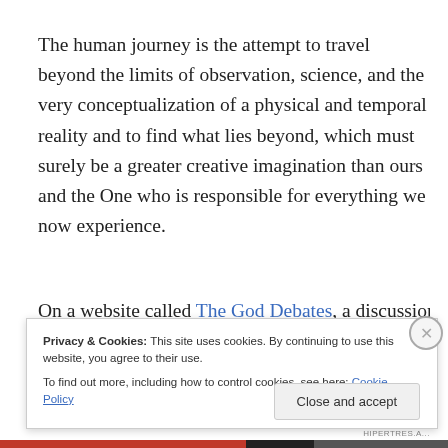The human journey is the attempt to travel beyond the limits of observation, science, and the very conceptualization of a physical and temporal reality and to find what lies beyond, which must surely be a greater creative imagination than ours and the One who is responsible for everything we now experience.
On a website called The God Debates, a discussion on a
Privacy & Cookies: This site uses cookies. By continuing to use this website, you agree to their use.
To find out more, including how to control cookies, see here: Cookie Policy
Close and accept